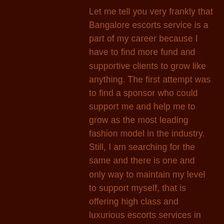Let me tell you very frankly that Bangalore escorts service is a part of my career because I have to find more fund and supportive clients to grow like anything. The first attempt was to find a sponsor who could support me and help me to grow as the most leading fashion model in the industry. Still, I am searching for the same and there is one and only way to maintain my level to support myself, that is offering high class and luxurious escorts services in Bangalore. I hope that I will get a rich supporter in the coming days to make me the star of the fashion world.